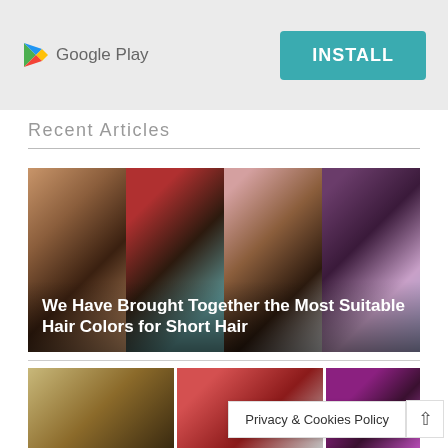[Figure (screenshot): Google Play banner with logo and INSTALL button on light grey background]
Recent Articles
[Figure (photo): Grid of four hair style photos showing short natural hairstyles with text overlay: We Have Brought Together the Most Suitable Hair Colors for Short Hair]
We Have Brought Together the Most Suitable Hair Colors for Short Hair
[Figure (photo): Three thumbnail images of braided hairstyles at bottom of page]
Privacy & Cookies Policy